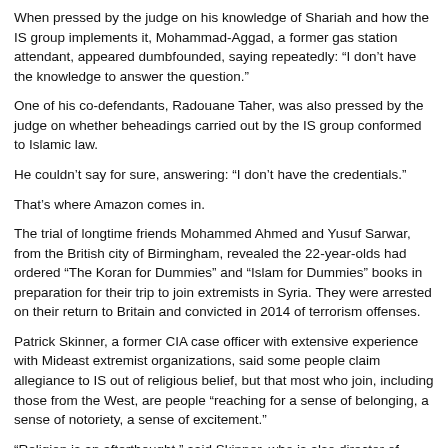When pressed by the judge on his knowledge of Shariah and how the IS group implements it, Mohammad-Aggad, a former gas station attendant, appeared dumbfounded, saying repeatedly: “I don’t have the knowledge to answer the question.”
One of his co-defendants, Radouane Taher, was also pressed by the judge on whether beheadings carried out by the IS group conformed to Islamic law.
He couldn’t say for sure, answering: “I don’t have the credentials.”
That’s where Amazon comes in.
The trial of longtime friends Mohammed Ahmed and Yusuf Sarwar, from the British city of Birmingham, revealed the 22-year-olds had ordered “The Koran for Dummies” and “Islam for Dummies” books in preparation for their trip to join extremists in Syria. They were arrested on their return to Britain and convicted in 2014 of terrorism offenses.
Patrick Skinner, a former CIA case officer with extensive experience with Mideast extremist organizations, said some people claim allegiance to IS out of religious belief, but that most who join, including those from the West, are people “reaching for a sense of belonging, a sense of notoriety, a sense of excitement.”
“Religion is an afterthought,” said Skinner, who is also director of special projects at security consultancy the Soufan Group.
Those who truly crave religious immersion would go to Al-Azhar in Cairo, he added, referring to the thousand-year-old seat of learning for Shariah and Quranic studies.
In its recent English language magazine Dabiq, dedicated largely to bolstering its own Muslim credentials, Islamic State dismissed Al-Azhar as part of an “approach to subdue Muslims through appeasement” with the West.